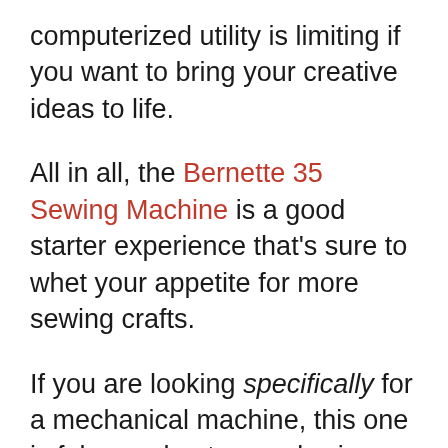computerized utility is limiting if you want to bring your creative ideas to life.
All in all, the Bernette 35 Sewing Machine is a good starter experience that's sure to whet your appetite for more sewing crafts.
If you are looking specifically for a mechanical machine, this one is fab – and gets our glowing endorsement.
It's beautifully built, and built to last.
We know several sewers who bought it as a 'backup machine' but ended up